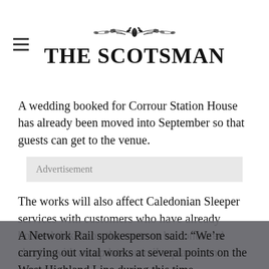THE SCOTSMAN
A wedding booked for Corrour Station House has already been moved into September so that guests can get to the venue.
Advertisement
The works will also affect Caledonian Sleeper services with customers who have already booked tickets on the route to be contacted shortly with an update on rail replacement services.
A Network Rail spokesperson said: “We’re carrying out vital works at several points on the West Highland Line during this time